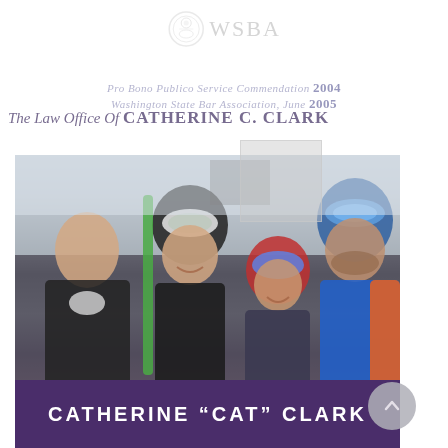[Figure (logo): WSBA circular logo with text WSBA beside it, shown faintly in gray]
Pro Bono Publico Service Commendation 2004
Washington State Bar Association, June 2005
The Law Office Of CATHERINE C. CLARK
[Figure (photo): Family photo with four people in ski gear — helmets and goggles — at a ski resort. Two adults on the left and right, a woman in the center-left, and a young woman center-right with a blue helmet.]
CATHERINE "CAT" CLARK